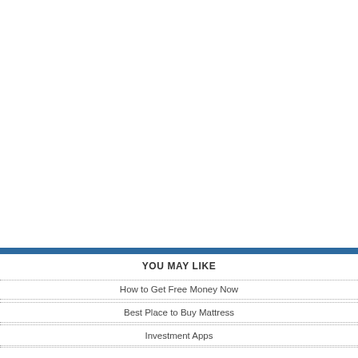YOU MAY LIKE
How to Get Free Money Now
Best Place to Buy Mattress
Investment Apps